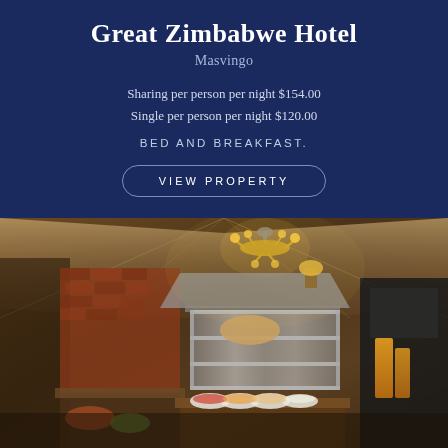Great Zimbabwe Hotel
Masvingo
Sharing per person per night $154.00
Single per person per night $120.00
BED AND BREAKFAST.
VIEW PROPERTY
[Figure (photo): Interior photo of a rustic hotel kitchen/dining area under a tent-style ceiling, featuring a gold chandelier, brick walls, stainless steel kitchen equipment, and a buffet table with food bowls and orange juice bottles.]